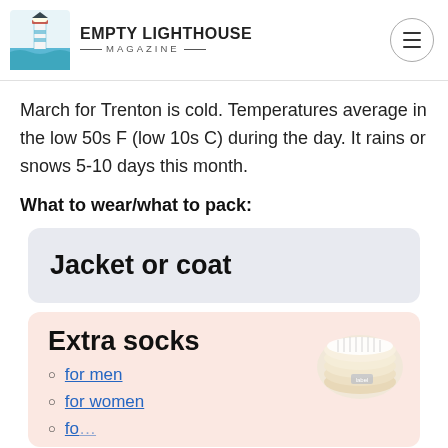EMPTY LIGHTHOUSE MAGAZINE
March for Trenton is cold. Temperatures average in the low 50s F (low 10s C) during the day. It rains or snows 5-10 days this month.
What to wear/what to pack:
[Figure (other): Light blue card with bold text: Jacket or coat]
[Figure (other): Pink card with bold title Extra socks, bullet links for men, for women, and a photo of white socks stacked]